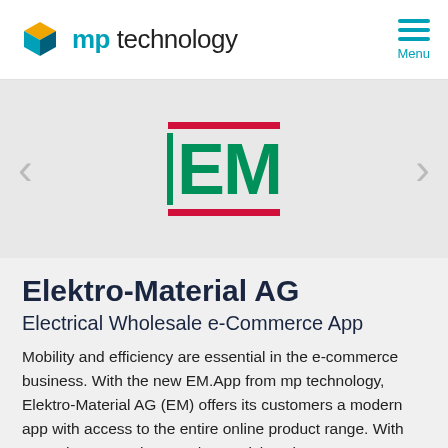[Figure (logo): mp technology logo with cube icon and 'mp technology' text in teal/dark gray]
[Figure (logo): Elektro-Material AG EM logo in green with red top and bottom bars]
Elektro-Material AG
Electrical Wholesale e-Commerce App
Mobility and efficiency are essential in the e-commerce business. With the new EM.App from mp technology, Elektro-Material AG (EM) offers its customers a modern app with access to the entire online product range. With more than more than 350/300 articles, the...